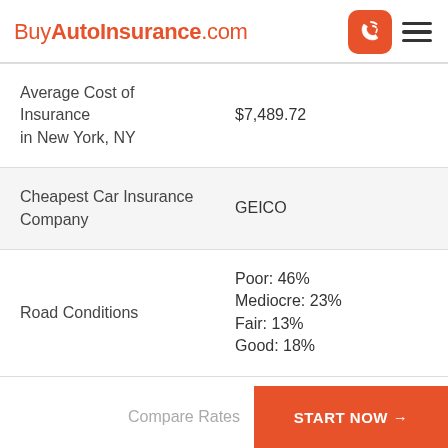BuyAutoInsurance.com
|  |  |
| --- | --- |
| Average Cost of Insurance in New York, NY | $7,489.72 |
| Cheapest Car Insurance Company | GEICO |
| Road Conditions | Poor: 46%
Mediocre: 23%
Fair: 13%
Good: 18% |
Compare Rates
START NOW →